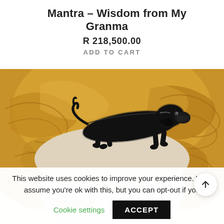Mantra – Wisdom from My Granma
R 218,500.00
ADD TO CART
[Figure (photo): Close-up of a ceramic face plate/mask showing orange-brown wavy hair texture at top, with a painted black dachshund dog running across the hair. The lower portion shows sculpted closed or downward-looking eyes with light eyebrows on a cream-colored face.]
This website uses cookies to improve your experience. We'll assume you're ok with this, but you can opt-out if you
Cookie settings
ACCEPT